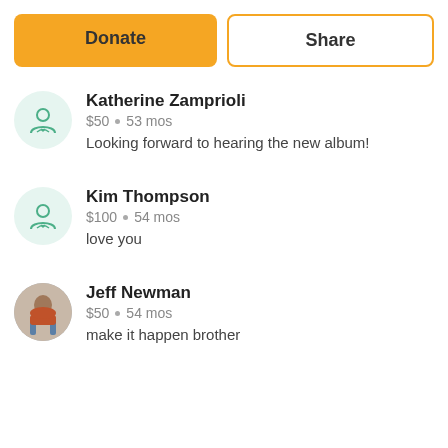Donate
Share
Katherine Zamprioli · $50 · 53 mos · Looking forward to hearing the new album!
Kim Thompson · $100 · 54 mos · love you
Jeff Newman · $50 · 54 mos · make it happen brother